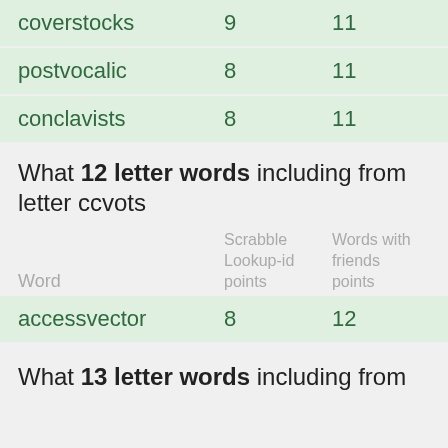| Word | Scrabble Lookup-id points | Words with friends points |
| --- | --- | --- |
| coverstocks | 9 | 11 |
| postvocalic | 8 | 11 |
| conclavists | 8 | 11 |
What 12 letter words including from letter ccvots
| Word | Scrabble Lookup-id points | Words with friends points |
| --- | --- | --- |
| accessvector | 8 | 12 |
What 13 letter words including from letter